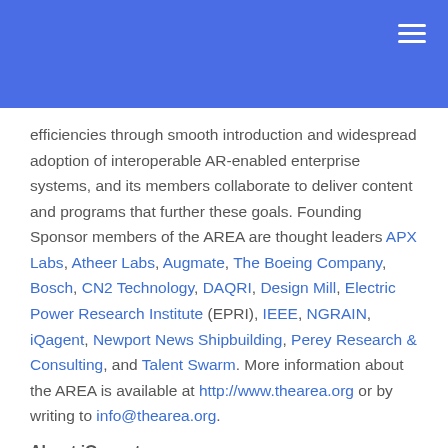efficiencies through smooth introduction and widespread adoption of interoperable AR-enabled enterprise systems, and its members collaborate to deliver content and programs that further these goals. Founding Sponsor members of the AREA are thought leaders APX Labs, Atheer Labs, Augmate, The Boeing Company, Bosch, CN2 Technology, DAQRI, Design Mill, Electric Power Research Institute (EPRI), IEEE, NGRAIN, iQagent, Newport News Shipbuilding, Perey Research & Consulting, and Talent Swarm. More information about the AREA is available at http://www.thearea.org or by writing to info@thearea.org.
About iQagent
iQagent